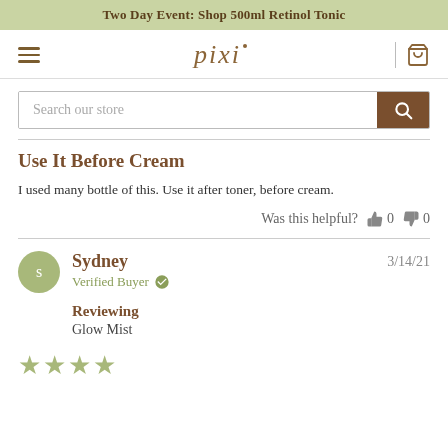Two Day Event: Shop 500ml Retinol Tonic
[Figure (logo): Pixi beauty brand logo with navigation icons]
Search our store
Use It Before Cream
I used many bottle of this. Use it after toner, before cream.
Was this helpful?  0  0
Sydney  3/14/21  Verified Buyer
Reviewing
Glow Mist